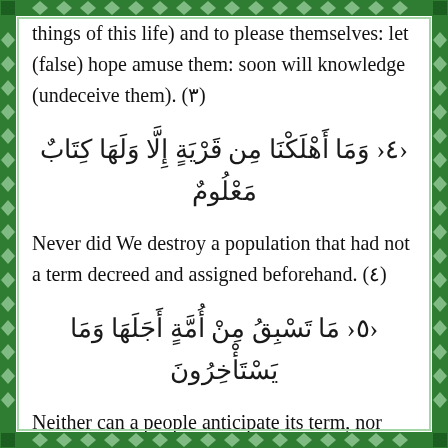things of this life) and to please themselves: let (false) hope amuse them: soon will knowledge (undeceive them). (3)
وَمَا أَهْلَكْنَا مِن قَرْيَةٍ إِلَّا وَلَهَا كِتَابٌ مَعْلُومٌ ﴿٤﴾
Never did We destroy a population that had not a term decreed and assigned beforehand. (4)
مَا تَسْبِقُ مِنْ أُمَّةٍ أَجَلَهَا وَمَا يَسْتَأْخِرُونَ ﴿٥﴾
Neither can a people anticipate its term, nor delay it. (5)